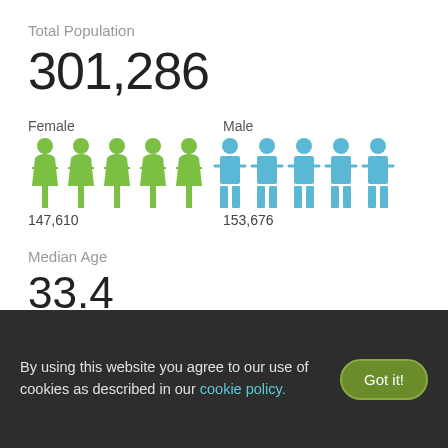Total Population
301,286
[Figure (infographic): Pictogram showing Female (green figures, 147,610) and Male (blue figures, 153,676) population icons side by side]
Median Age
33.4
Pittsburgh, PA has a population of 301,286 according to the most
By using this website you agree to our use of cookies as described in our cookie policy.